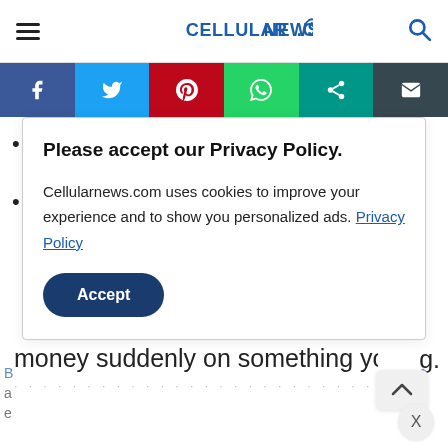CELLULARNEWS.COM
[Figure (infographic): Social sharing bar with Facebook, Twitter, Pinterest, WhatsApp, Share, and Email buttons]
Please accept our Privacy Policy.
Cellularnews.com uses cookies to improve your experience and to show you personalized ads. Privacy Policy
Accept
money suddenly on something you're just